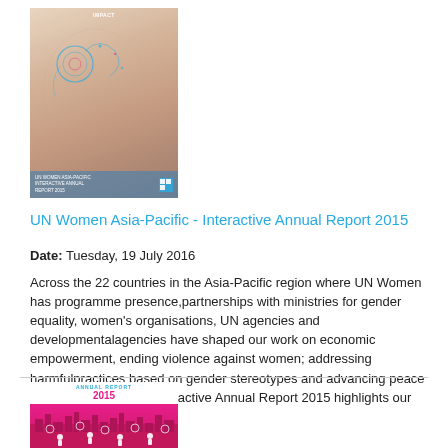[Figure (photo): Cover of UN Women Asia-Pacific Interactive Annual Report 2015 showing a woman's face with artistic overlay and decorative elements]
UN Women Asia-Pacific - Interactive Annual Report 2015
Date: Tuesday, 19 July 2016
Across the 22 countries in the Asia-Pacific region where UN Women has programme presence,partnerships with ministries for gender equality, women's organisations, UN agencies and developmentalagencies have shaped our work on economic empowerment, ending violence against women; addressing harmfulpractices based on gender stereotypes and advancing peace and security.Our first interactive Annual Report 2015 highlights our key achievements.
[Figure (photo): Second cover image of the Annual Report 2015 with pink background showing city skyline and people icons]